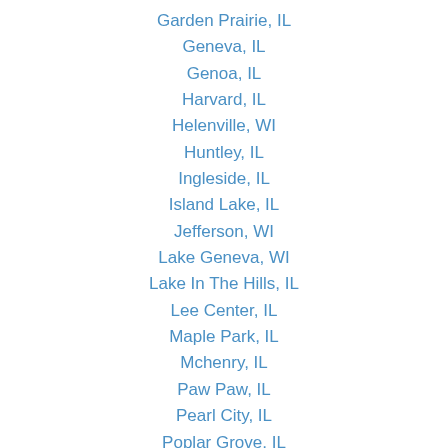Garden Prairie, IL
Geneva, IL
Genoa, IL
Harvard, IL
Helenville, WI
Huntley, IL
Ingleside, IL
Island Lake, IL
Jefferson, WI
Lake Geneva, WI
Lake In The Hills, IL
Lee Center, IL
Maple Park, IL
Mchenry, IL
Paw Paw, IL
Pearl City, IL
Poplar Grove, IL
Richmond, IL